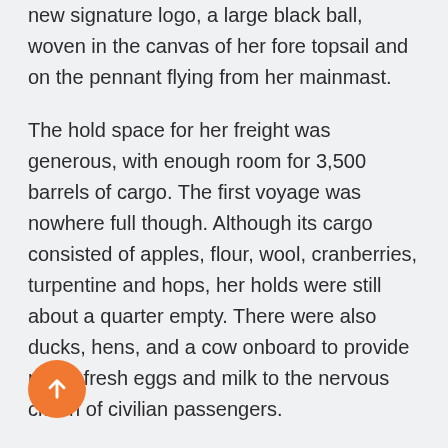new signature logo, a large black ball, woven in the canvas of her fore topsail and on the pennant flying from her mainmast.
The hold space for her freight was generous, with enough room for 3,500 barrels of cargo. The first voyage was nowhere full though. Although its cargo consisted of apples, flour, wool, cranberries, turpentine and hops, her holds were still about a quarter empty. There were also ducks, hens, and a cow onboard to provide meat, fresh eggs and milk to the nervous clutch of civilian passengers.
For the most part, the passengers travelled in comfort. The ship was lavishly arranged, with staterooms and on dining areas accessible to first-class passengers. While whale-oil lanterns and silver